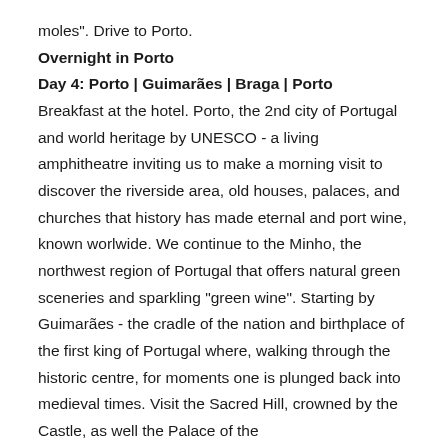moles". Drive to Porto.
Overnight in Porto
Day 4: Porto | Guimarães | Braga | Porto
Breakfast at the hotel. Porto, the 2nd city of Portugal and world heritage by UNESCO - a living amphitheatre inviting us to make a morning visit to discover the riverside area, old houses, palaces, and churches that history has made eternal and port wine, known worlwide. We continue to the Minho, the northwest region of Portugal that offers natural green sceneries and sparkling "green wine". Starting by Guimarães - the cradle of the nation and birthplace of the first king of Portugal where, walking through the historic centre, for moments one is plunged back into medieval times. Visit the Sacred Hill, crowned by the Castle, as well the Palace of the